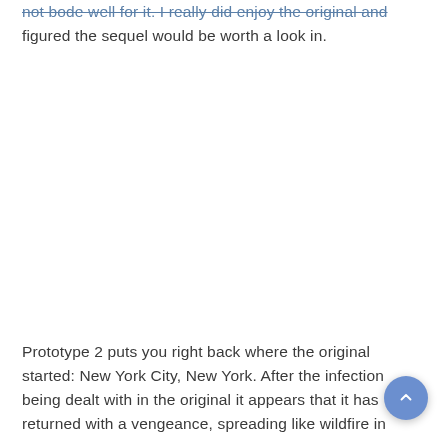not bode well for it. I really did enjoy the original and figured the sequel would be worth a look in.
Prototype 2 puts you right back where the original started: New York City, New York. After the infection being dealt with in the original it appears that it has returned with a vengeance, spreading like wildfire in